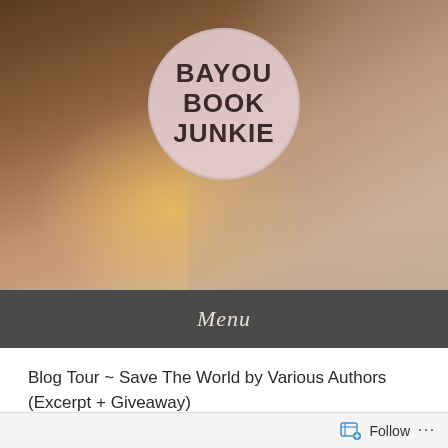[Figure (photo): Blog header image showing two men in an embrace against a New Orleans street background with warm lighting and a circular logo overlay reading BAYOU BOOK JUNKIE]
BAYOU BOOK JUNKIE
Menu
Blog Tour ~ Save The World by Various Authors (Excerpt + Giveaway)
Posted on 06/23/2022 by Kat E.
Follow